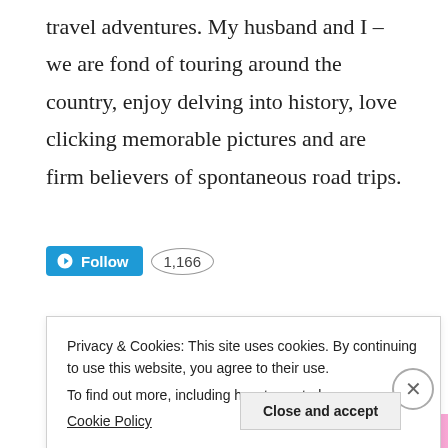travel adventures. My husband and I – we are fond of touring around the country, enjoy delving into history, love clicking memorable pictures and are firm believers of spontaneous road trips.
[Figure (other): WordPress Follow button (blue) with 1,166 follower count badge]
Blo S...
Privacy & Cookies: This site uses cookies. By continuing to use this website, you agree to their use. To find out more, including how to control Cookie Policy